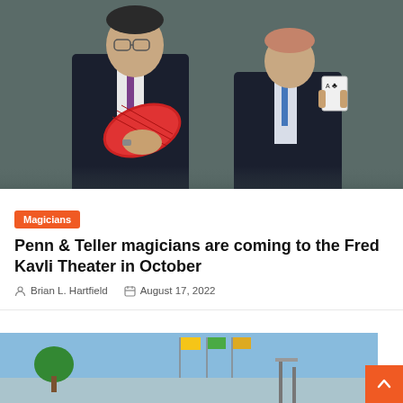[Figure (photo): Two magicians Penn and Teller in dark plaid suits against gray background. The taller man on the left holds a fan of playing cards, the shorter man on the right holds up a single playing card.]
Magicians
Penn & Teller magicians are coming to the Fred Kavli Theater in October
Brian L. Hartfield   August 17, 2022
[Figure (photo): Outdoor scene with colorful flags and trees against a blue sky, partially visible at bottom of page.]